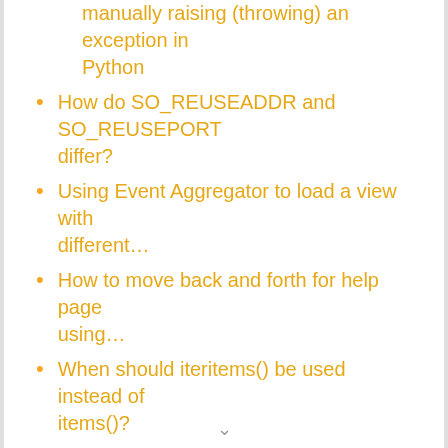manually raising (throwing) an exception in Python
How do SO_REUSEADDR and SO_REUSEPORT differ?
Using Event Aggregator to load a view with different…
How to move back and forth for help page using…
When should iteritems() be used instead of items()?
Install opencv for Python 3.3
What's the best way to get the last element of an…
Why is "except: pass" a bad programming